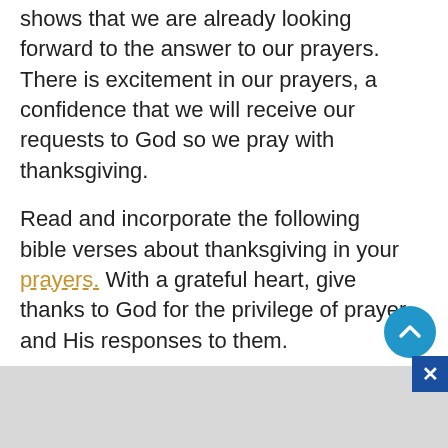shows that we are already looking forward to the answer to our prayers. There is excitement in our prayers, a confidence that we will receive our requests to God so we pray with thanksgiving.
Read and incorporate the following bible verses about thanksgiving in your prayers. With a grateful heart, give thanks to God for the privilege of prayer and His responses to them.
Philippians 4:6 Do not be anxious about anything, but in every situation, by prayer and petition, with thanksgiving, present your requests to God.